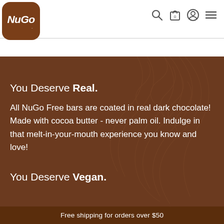[Figure (logo): NuGo logo: brown rounded square shape with white NuGo. text]
[Figure (illustration): Navigation icons: search magnifying glass, shopping bag with 0, user/account icon, hamburger menu]
You Deserve Real.
All NuGo Free bars are coated in real dark chocolate! Made with cocoa butter - never palm oil. Indulge in that melt-in-your-mouth experience you know and love!
You Deserve Vegan.
Free shipping for orders over $50